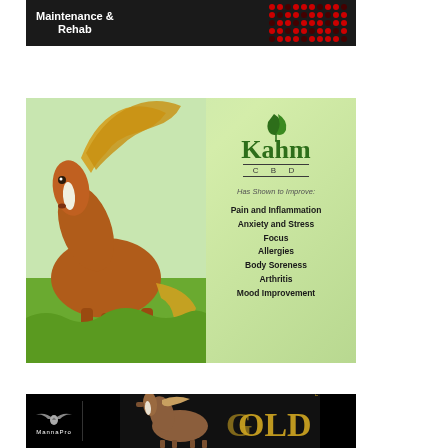[Figure (photo): Advertisement banner with dark background showing 'Maintenance & Rehab' text in white bold font and a red LED light pad device on the right side]
[Figure (photo): Kahm CBD advertisement featuring a chestnut horse with flowing mane on a green grassy background. Logo reads 'Kahm CBD' with green leaf icon. Text states 'Has Shown to Improve: Pain and Inflammation, Anxiety and Stress, Focus, Allergies, Body Soreness, Arthritis, Mood Improvement']
[Figure (photo): MannaPro product advertisement on black background with MannaPro logo (bird/wings), a horse image, and gold text reading 'GOLD' with 'Coconut Meal' text in vertical orientation]